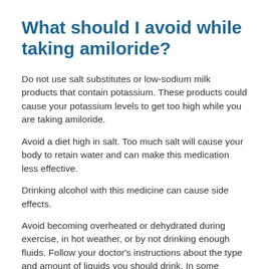What should I avoid while taking amiloride?
Do not use salt substitutes or low-sodium milk products that contain potassium. These products could cause your potassium levels to get too high while you are taking amiloride.
Avoid a diet high in salt. Too much salt will cause your body to retain water and can make this medication less effective.
Drinking alcohol with this medicine can cause side effects.
Avoid becoming overheated or dehydrated during exercise, in hot weather, or by not drinking enough fluids. Follow your doctor's instructions about the type and amount of liquids you should drink. In some cases, drinking too much liquid can be as unsafe as not drinking enough.
What are the possible side